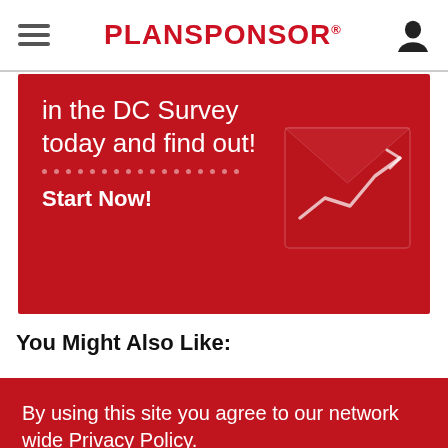PLANSPONSOR
[Figure (illustration): Red promotional banner with white text 'in the DC Survey today and find out!' and 'Start Now!' button, with decorative envelope and chart graphic on the right side]
You Might Also Like:
By using this site you agree to our network wide Privacy Policy.
OK, GOT IT